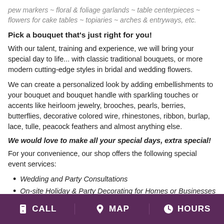pew markers ~ floral & foliage garlands ~ table centerpieces ~ flowers for cake tables ~ topiaries ~ arches & entryways, etc.
Pick a bouquet that's just right for you!
With our talent, training and experience, we will bring your special day to life... with classic traditional bouquets, or more modern cutting-edge styles in bridal and wedding flowers.
We can create a personalized look by adding embellishments to your bouquet and bouquet handle with sparkling touches or accents like heirloom jewelry, brooches, pearls, berries, butterflies, decorative colored wire, rhinestones, ribbon, burlap, lace, tulle, peacock feathers and almost anything else.
We would love to make all your special days, extra special!
For your convenience, our shop offers the following special event services:
Wedding and Party Consultations
On-site Holiday & Party Decorating for Homes or Businesses
CALL  MAP  HOURS